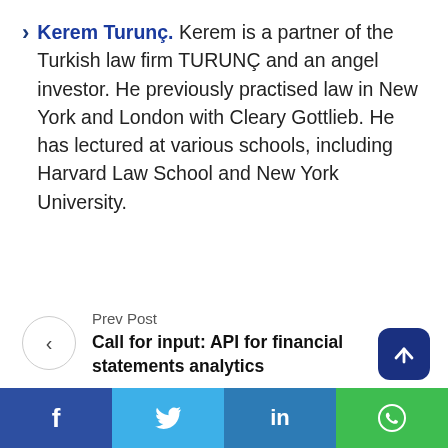Kerem Turunç. Kerem is a partner of the Turkish law firm TURUNÇ and an angel investor. He previously practised law in New York and London with Cleary Gottlieb. He has lectured at various schools, including Harvard Law School and New York University.
Prev Post
Call for input: API for financial statements analytics
f  [Twitter]  in  [WhatsApp]